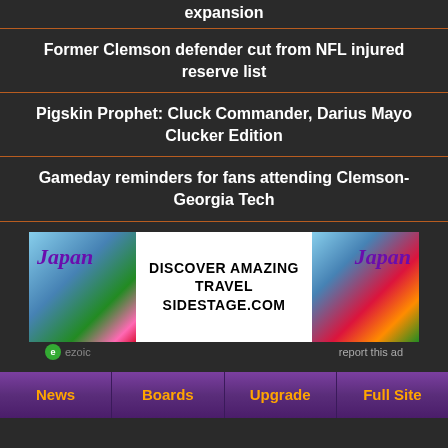expansion
Former Clemson defender cut from NFL injured reserve list
Pigskin Prophet: Cluck Commander, Darius Mayo Clucker Edition
Gameday reminders for fans attending Clemson-Georgia Tech
[Figure (other): Advertisement banner for Japan travel - 'DISCOVER AMAZING TRAVEL SIDESTAGE.COM' with Japan imagery on left and right panels]
ezoic   report this ad
News   Boards   Upgrade   Full Site